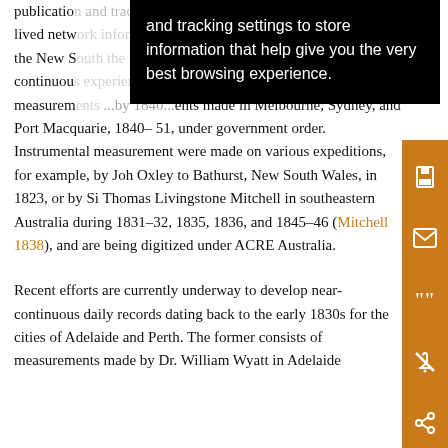publication... and tracking settings to store information that help give you the very best browsing experience. ...short-lived netw...long the New S... More continuous measurements... made in Melbourne, Sydney, and Port Macquarie, 1840–51, under government order. Instrumental measurements were made on various expeditions, for example, by John Oxley to Bathurst, New South Wales, in 1823, or by Sir Thomas Livingstone Mitchell in southeastern Australia during 1831–32, 1835, 1836, and 1845–46 (Mitchell 1838), and are being digitized under ACRE Australia.
Recent efforts are currently underway to develop near-continuous daily records dating back to the early 1830s for the cities of Adelaide and Perth. The former consists of measurements made by Dr. William Wyatt in Adelaide